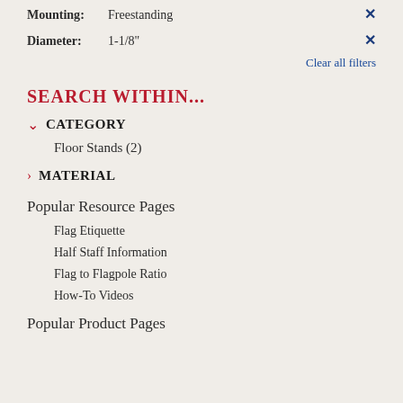Mounting: Freestanding
Diameter: 1-1/8"
Clear all filters
SEARCH WITHIN...
CATEGORY
Floor Stands (2)
MATERIAL
Popular Resource Pages
Flag Etiquette
Half Staff Information
Flag to Flagpole Ratio
How-To Videos
Popular Product Pages